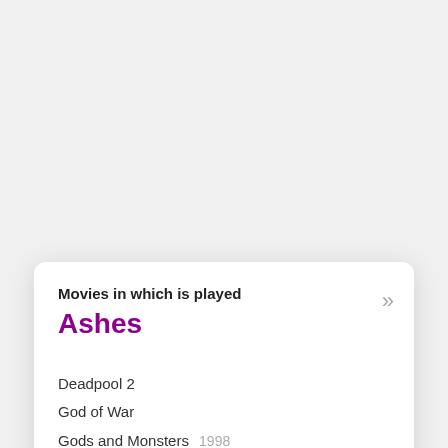Movies in which is played
Ashes
Deadpool 2
God of War
Gods and Monsters 1998
Hugo 2011